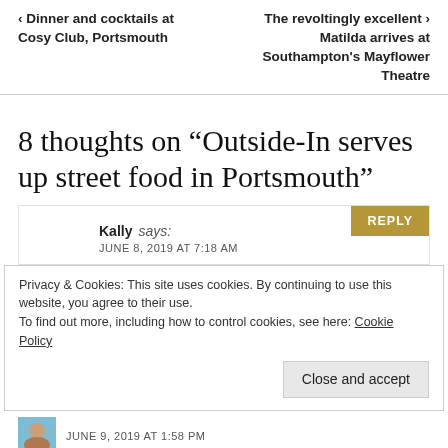< Dinner and cocktails at Cosy Club, Portsmouth | The revoltingly excellent > Matilda arrives at Southampton's Mayflower Theatre
8 thoughts on “Outside-In serves up street food in Portsmouth”
REPLY
Kally says: JUNE 8, 2019 AT 7:18 AM
Privacy & Cookies: This site uses cookies. By continuing to use this website, you agree to their use.
To find out more, including how to control cookies, see here: Cookie Policy
Close and accept
JUNE 9, 2019 AT 1:58 PM